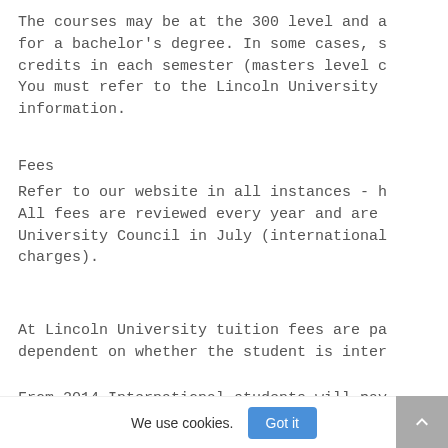The courses may be at the 300 level and a for a bachelor's degree. In some cases, s credits in each semester (masters level c You must refer to the Lincoln University information.
Fees
Refer to our website in all instances - h All fees are reviewed every year and are University Council in July (international charges).
At Lincoln University tuition fees are pa dependent on whether the student is inter
From 2014 International students will pay tuition fee for the qualification that th
We use cookies.